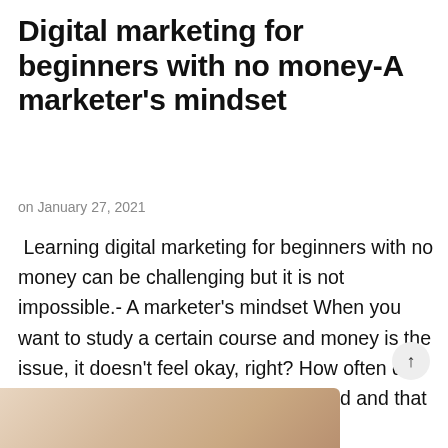Digital marketing for beginners with no money-A marketer's mindset
on January 27, 2021
Learning digital marketing for beginners with no money can be challenging but it is not impossible.- A marketer's mindset When you want to study a certain course and money is the issue, it doesn't feel okay, right? How often do we face these situations? I understand and that is why I have written this blog ...
[Figure (photo): Partial photo of a person with blonde hair at the bottom of the page]